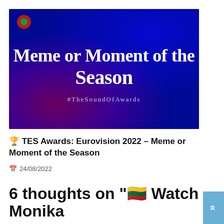[Figure (illustration): Dark gradient background (purple to blue to dark blue) with large white bold serif text reading 'Meme or Moment of the Season' and smaller text '#TheSoundOfAwards' below, with a small colorful logo in top-left corner]
🏆 TES Awards: Eurovision 2022 – Meme or Moment of the Season
📅 24/08/2022
6 thoughts on "🇱🇹 Watch Monika